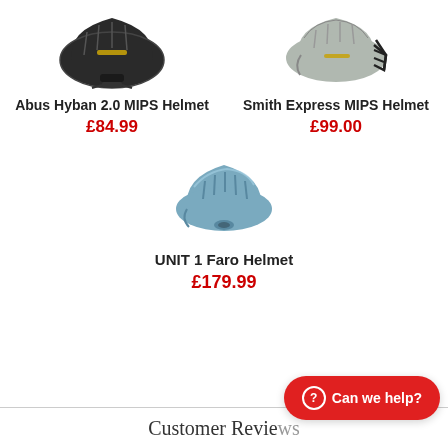[Figure (photo): Abus Hyban 2.0 MIPS Helmet product photo, dark colored helmet on white background]
[Figure (photo): Smith Express MIPS Helmet product photo, grey helmet on white background]
Abus Hyban 2.0 MIPS Helmet
£84.99
Smith Express MIPS Helmet
£99.00
[Figure (photo): UNIT 1 Faro Helmet product photo, light blue helmet on white background]
UNIT 1 Faro Helmet
£179.99
Customer Reviews